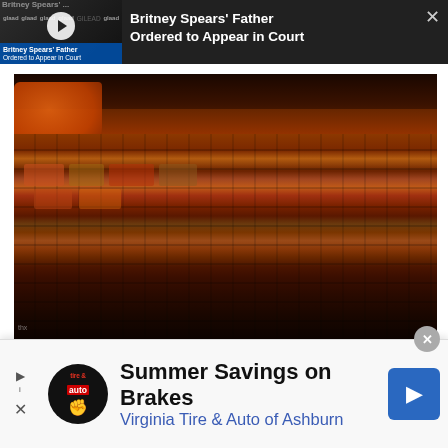[Figure (screenshot): Video notification overlay showing Britney Spears Father Ordered to Appear in Court with play button and glaad event background]
[Figure (photo): Close-up photo of a colorful patchwork quilt/bedspread on a bed with an orange pillow, dark warm tones]
SOURCE: YOUTUBE SCREENSHOT
Transitioning from renting to
[Figure (screenshot): Advertisement banner for Virginia Tire & Auto of Ashburn - Summer Savings on Brakes]